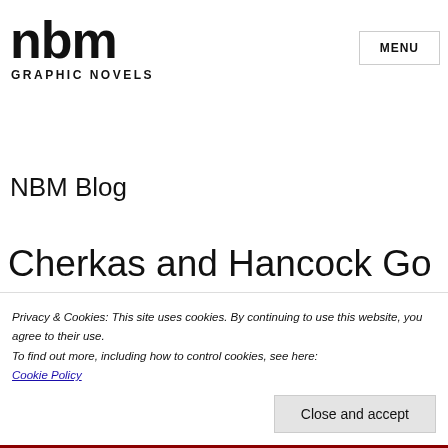[Figure (logo): NBM Graphic Novels logo — large stylized lowercase 'nbm' letters in bold black, with 'GRAPHIC NOVELS' in bold uppercase below]
MENU
NBM Blog
Cherkas and Hancock Go
Privacy & Cookies: This site uses cookies. By continuing to use this website, you agree to their use.
To find out more, including how to control cookies, see here:
Cookie Policy
Close and accept